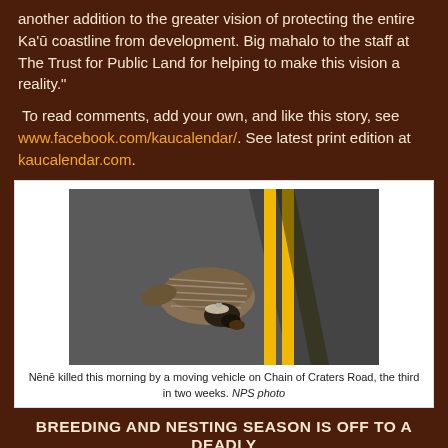another addition to the greater vision of protecting the entire Ka'ū coastline from development. Big mahalo to the staff at The Trust for Public Land for helping to make this vision a reality."
To read comments, add your own, and like this story, see www.facebook.com/kaucalendar/. See latest print edition at kaucalendar.com.
[Figure (photo): A Nēnē (Hawaiian goose) lying dead on a paved road with double yellow center lines visible, killed by a vehicle on Chain of Craters Road.]
Nēnē killed this morning by a moving vehicle on Chain of Craters Road, the third in two weeks. NPS photo
BREEDING AND NESTING SEASON IS OFF TO A DEADLY